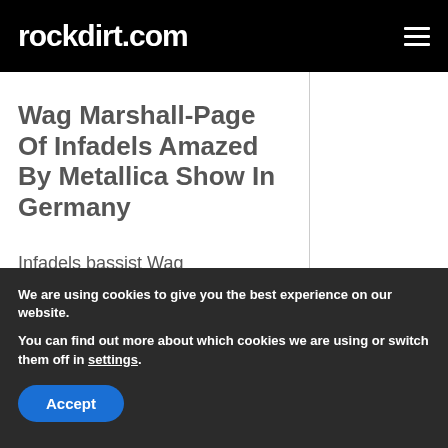rockdirt.com
Wag Marshall-Page Of Infadels Amazed By Metallica Show In Germany
Infadels bassist Wag
We are using cookies to give you the best experience on our website.
You can find out more about which cookies we are using or switch them off in settings.
Accept